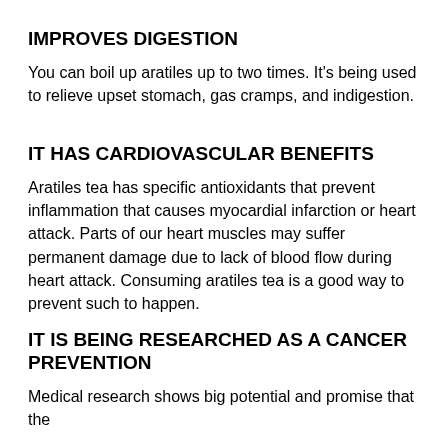IMPROVES DIGESTION
You can boil up aratiles up to two times. It's being used to relieve upset stomach, gas cramps, and indigestion.
IT HAS CARDIOVASCULAR BENEFITS
Aratiles tea has specific antioxidants that prevent inflammation that causes myocardial infarction or heart attack. Parts of our heart muscles may suffer permanent damage due to lack of blood flow during heart attack. Consuming aratiles tea is a good way to prevent such to happen.
IT IS BEING RESEARCHED AS A CANCER PREVENTION
Medical research shows big potential and promise that the